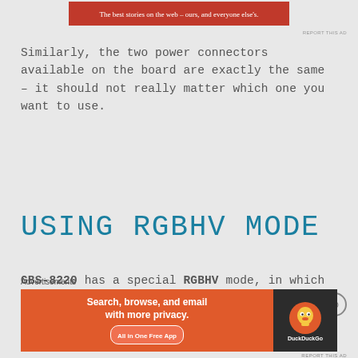[Figure (other): Top advertisement banner with red background, white text reading 'The best stories on the web – ours, and everyone else's.']
Similarly, the two power connectors available on the board are exactly the same – it should not really matter which one you want to use.
USING RGBHV MODE
GBS-8220 has a special RGBHV mode, in which (in the absence of any decent user manual) as I deduct from the name, it should interpret the separate horizontal
Advertisements
[Figure (other): DuckDuckGo advertisement banner: 'Search, browse, and email with more privacy. All in One Free App' with DuckDuckGo logo on dark right panel.]